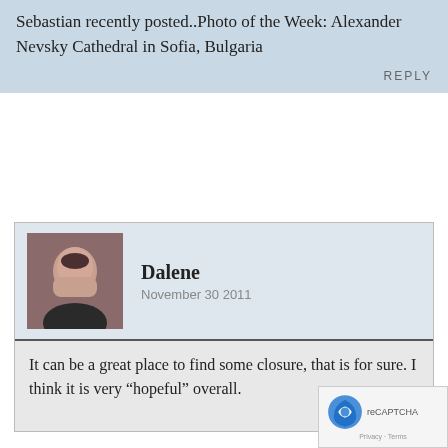Sebastian recently posted..Photo of the Week: Alexander Nevsky Cathedral in Sofia, Bulgaria
REPLY
[Figure (photo): Avatar photo of Dalene, a woman with short dark hair]
Dalene
November 30 2011
It can be a great place to find some closure, that is for sure. I think it is very “hopeful” overall.
REPLY
[Figure (photo): Avatar photo of Bobbi Lee Hitchon, a woman]
Bobbi Lee Hitchon
November 29 2011
This popped up in #TTOT a few weeks back. So happy you wrote something on it!